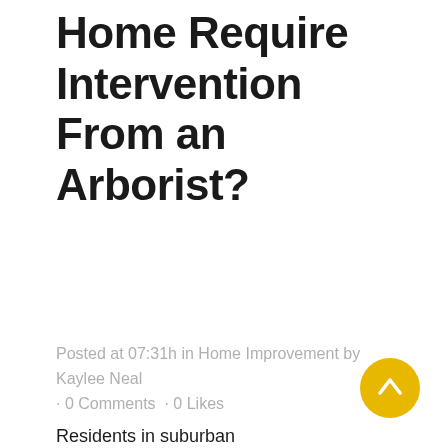Home Require Intervention From an Arborist?
Posted at 07:31h in Home Improvement by Kaylee Neal · 0 Comments · 0 Likes
Residents in suburban neighborhoods don't have to travel too far to find an arborist working close by. There is overlap with their expertise and those who operate as landscapers and gardeners, but they take a far more